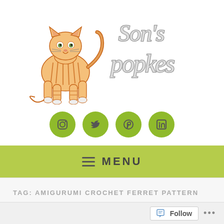[Figure (illustration): Son's Popkes blog header with illustrated orange tabby cat on left and hand-drawn text 'Son's popkes' on right]
[Figure (infographic): Row of four green circular social media icons: Instagram, Twitter, Pinterest, LinkedIn]
≡ MENU
TAG: AMIGURUMI CROCHET FERRET PATTERN
Follow ...